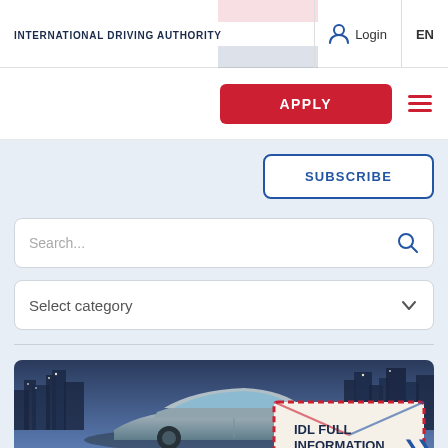INTERNATIONAL DRIVING AUTHORITY | Login | EN
[Figure (screenshot): Navigation bar with red APPLY button and hamburger menu icon]
[Figure (screenshot): SUBSCRIBE button with blue border]
[Figure (screenshot): Search input field with magnifying glass icon]
[Figure (screenshot): Select category dropdown]
[Figure (photo): Car in front of city skyline at dusk with mail envelope overlay showing IDL FULL INFORMATION text]